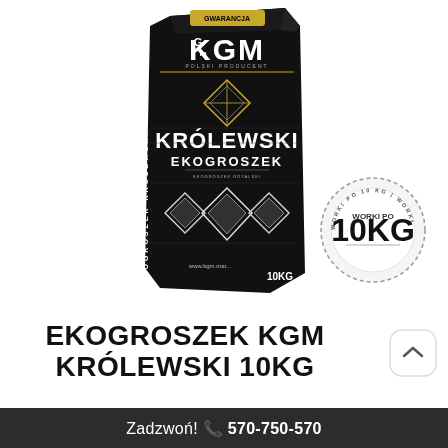[Figure (photo): Black bag of KGM Królewski Ekogroszek coal product (10kg), with gold and white lettering and diamond pattern design. A circular dashed badge reads 'WORKI PO 10KG' around the edge and '10KG' in bold in the center.]
EKOGROSZEK KGM KRÓLEWSKI 10KG
Zadzwoń! 📞 570-750-570